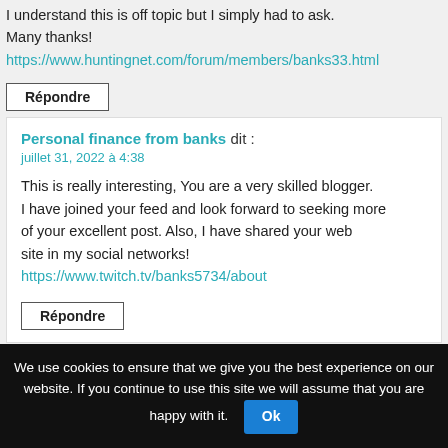I understand this is off topic but I simply had to ask. Many thanks! https://www.huntingnet.com/forum/members/banks33.html
Répondre
Personal finance from banks dit :
juillet 31, 2022 à 4:38
This is really interesting, You are a very skilled blogger. I have joined your feed and look forward to seeking more of your excellent post. Also, I have shared your web site in my social networks! https://www.twitch.tv/banks5734/about
Répondre
personal financing classes dit :
juillet 31, 2022 à 4:48
We use cookies to ensure that we give you the best experience on our website. If you continue to use this site we will assume that you are happy with it. Ok